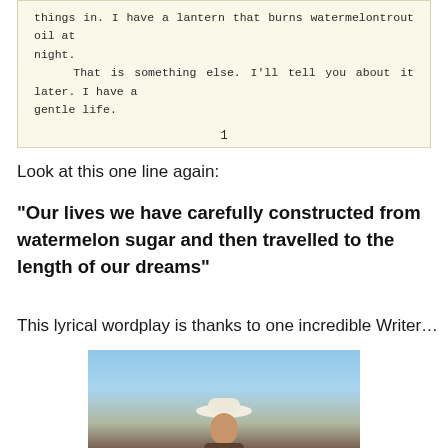[Figure (screenshot): Scanned book page excerpt on yellowed paper background. Text reads: 'things in. I have a lantern that burns watermelontrout oil at night. That is something else. I'll tell you about it later. I have a gentle life.' followed by page number 1.]
Look at this one line again:
“Our lives we have carefully constructed from watermelon sugar and then travelled to the length of our dreams”
This lyrical wordplay is thanks to one incredible Writer…
[Figure (photo): A person wearing a white bucket hat against a light blue sky background, visible from approximately the shoulders up.]